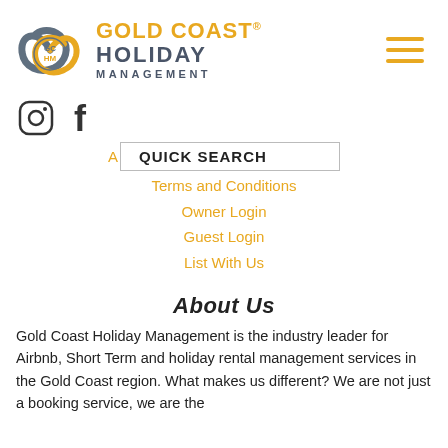[Figure (logo): Gold Coast Holiday Management logo with swirl icon and company name in gold and dark grey]
[Figure (other): Hamburger menu icon (three gold horizontal lines)]
[Figure (other): Instagram and Facebook social media icons]
QUICK SEARCH
Terms and Conditions
Owner Login
Guest Login
List With Us
About Us
Gold Coast Holiday Management is the industry leader for Airbnb, Short Term and holiday rental management services in the Gold Coast region. What makes us different? We are not just a booking service, we are the